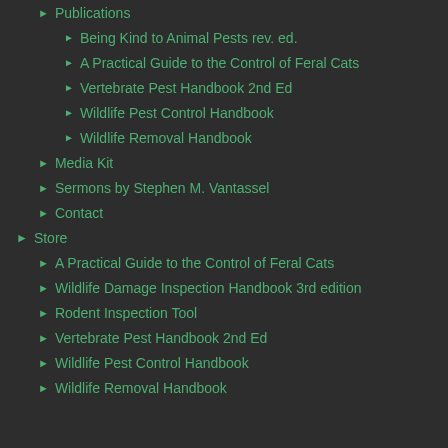Publications
Being Kind to Animal Pests rev. ed.
A Practical Guide to the Control of Feral Cats
Vertebrate Pest Handbook 2nd Ed
Wildlife Pest Control Handbook
Wildlife Removal Handbook
Media Kit
Sermons by Stephen M. Vantassel
Contact
Store
A Practical Guide to the Control of Feral Cats
Wildlife Damage Inspection Handbook 3rd edition
Rodent Inspection Tool
Vertebrate Pest Handbook 2nd Ed
Wildlife Pest Control Handbook
Wildlife Removal Handbook